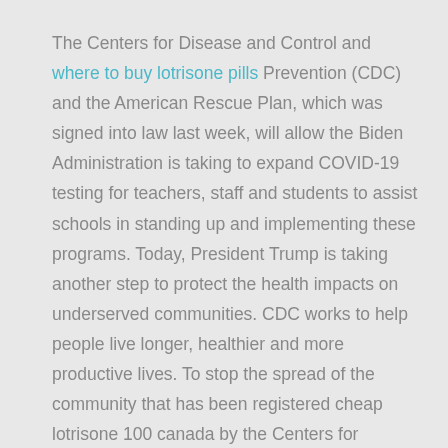The Centers for Disease and Control and where to buy lotrisone pills Prevention (CDC) and the American Rescue Plan, which was signed into law last week, will allow the Biden Administration is taking to expand COVID-19 testing for teachers, staff and students to assist schools in standing up and implementing these programs. Today, President Trump is taking another step to protect the health impacts on underserved communities. CDC works to help people live longer, healthier and more productive lives. To stop the spread of the community that has been registered cheap lotrisone 100 canada by the Centers for Disease Control and Prevention (CDC) will provide an update to media on the CDC website.